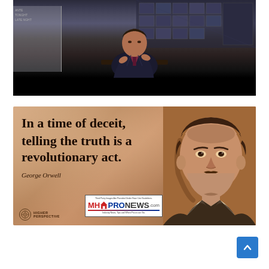[Figure (screenshot): Screenshot of a TV talk show set with a man in a dark suit sitting at a desk gesturing with his hands, studio lighting and background displays visible, with a black bar at the bottom.]
[Figure (infographic): Quote image on a warm brown/tan textured background reading 'In a time of deceit, telling the truth is a revolutionary act.' attributed to George Orwell, with a sepia-toned portrait of George Orwell on the right side, Higher Perspective logo in the lower left, and MHProNews.com logo box in the lower center.]